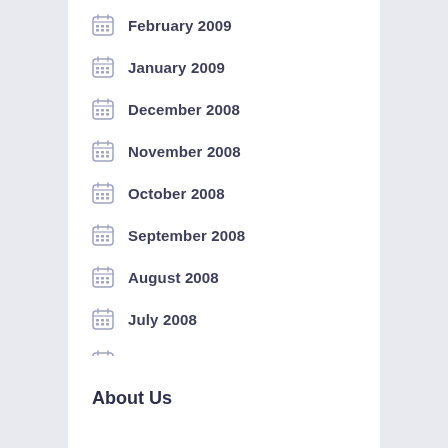February 2009
January 2009
December 2008
November 2008
October 2008
September 2008
August 2008
July 2008
June 2008
May 2008
About Us